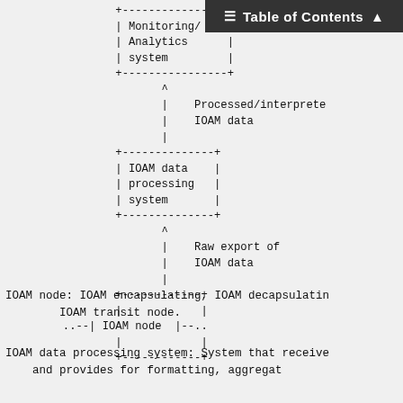[Figure (schematic): ASCII art diagram showing a vertical stack of boxes connected by arrows. From bottom to top: IOAM node box with dotted connections on sides, arrow up labeled 'Raw export of IOAM data', IOAM data processing system box, arrow up labeled 'Processed/interpreted IOAM data', Monitoring/Analytics system box at top.]
IOAM node: IOAM encapsulating, IOAM decapsulating IOAM transit node.
IOAM data processing system: System that receives and provides for formatting, aggregat